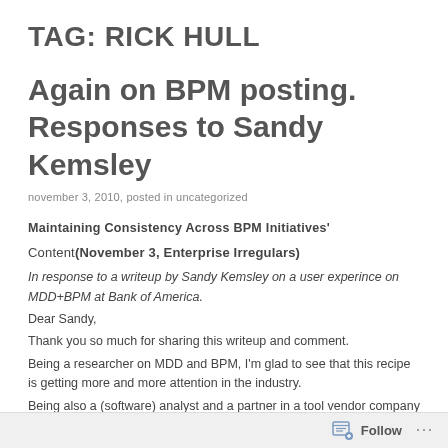TAG: RICK HULL
Again on BPM posting. Responses to Sandy Kemsley
november 3, 2010, posted in uncategorized
Maintaining Consistency Across BPM Initiatives'
Content(November 3, Enterprise Irregulars)
In response to a writeup by Sandy Kemsley on a user experince on MDD+BPM at Bank of America.
Dear Sandy,
Thank you so much for sharing this writeup and comment.
Being a researcher on MDD and BPM, I'm glad to see that this recipe is getting more and more attention in the industry.
Being also a (software) analyst and a partner in a tool vendor company
Follow